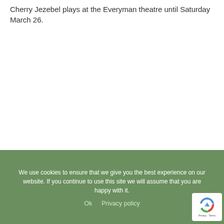Cherry Jezebel plays at the Everyman theatre until Saturday March 26.
We use cookies to ensure that we give you the best experience on our website. If you continue to use this site we will assume that you are happy with it.
Ok   Privacy policy